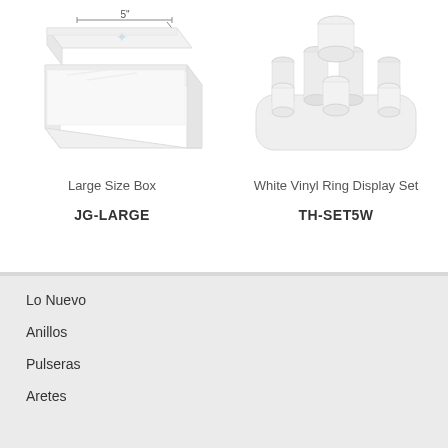[Figure (photo): White large size jewelry box with lid open, showing 5" dimension marking]
Large Size Box
JG-LARGE
[Figure (photo): White vinyl ring display set with multiple cylindrical ring holders on a tray]
White Vinyl Ring Display Set
TH-SET5W
Lo Nuevo
Anillos
Pulseras
Aretes